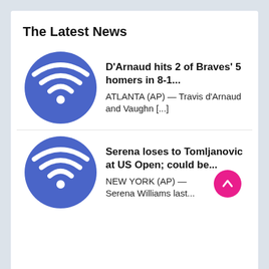The Latest News
[Figure (illustration): Blue circle with white WiFi signal icon — placeholder image for news article 1]
D'Arnaud hits 2 of Braves' 5 homers in 8-1...
ATLANTA (AP) — Travis d'Arnaud and Vaughn [...]
[Figure (illustration): Blue circle with white WiFi signal icon — placeholder image for news article 2]
Serena loses to Tomljanovic at US Open; could be...
NEW YORK (AP) — Serena Williams last...